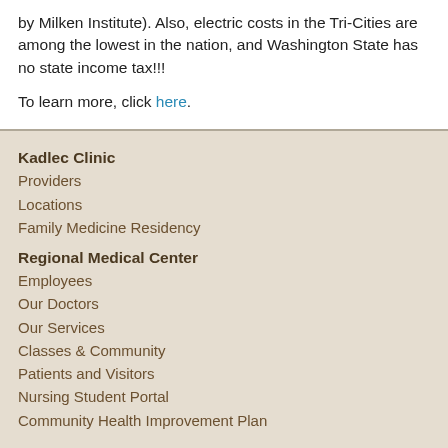by Milken Institute). Also, electric costs in the Tri-Cities are among the lowest in the nation, and Washington State has no state income tax!!!
To learn more, click here.
Kadlec Clinic
Providers
Locations
Family Medicine Residency
Regional Medical Center
Employees
Our Doctors
Our Services
Classes & Community
Patients and Visitors
Nursing Student Portal
Community Health Improvement Plan